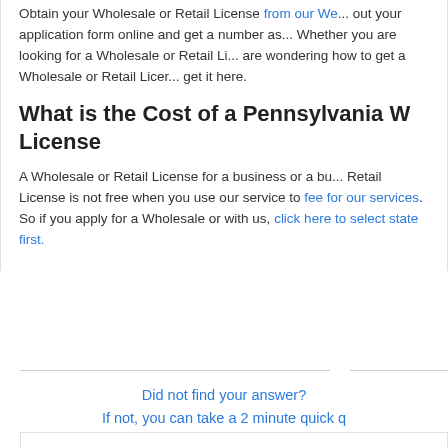Obtain your Wholesale or Retail License from our We... out your application form online and get a number as... Whether you are looking for a Wholesale or Retail Li... are wondering how to get a Wholesale or Retail Licer... get it here.
What is the Cost of a Pennsylvania W... License
A Wholesale or Retail License for a business or a bu... Retail License is not free when you use our service t... fee for our services. So if you apply for a Wholesale ... with us, click here to select state first.
Did not find your answer? If not, you can take a 2 minute quick q...